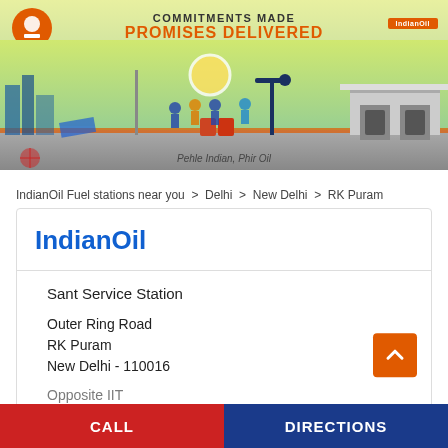[Figure (illustration): IndianOil banner advertisement with tagline 'COMMITMENTS MADE PROMISES DELIVERED' and 'Pehle Indian, Phir Oil'. Shows illustrated industrial scene with oil pump, wind turbines, solar panels, workers, and a fuel station. IndianOil logo top left.]
IndianOil Fuel stations near you > Delhi > New Delhi > RK Puram
IndianOil
Sant Service Station
Outer Ring Road
RK Puram
New Delhi - 110016
Opposite IIT
CALL
DIRECTIONS